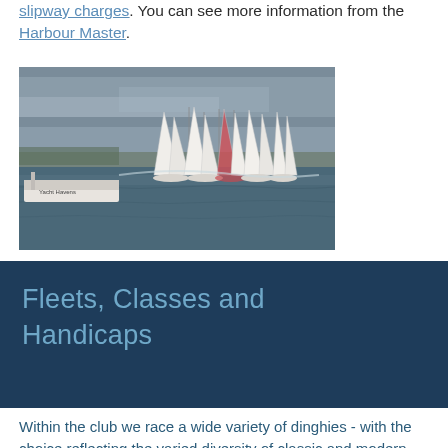slipway charges. You can see more information from the Harbour Master.
[Figure (photo): Sailing race with multiple dinghies and sailboats on open water under an overcast sky, with a support vessel visible on the left bearing 'Yacht Havens' text.]
Fleets, Classes and Handicaps
Within the club we race a wide variety of dinghies - with the choice reflecting the varied diversity of classic and modern dinghies available on the UK dinghy scene. We split the various boats into four